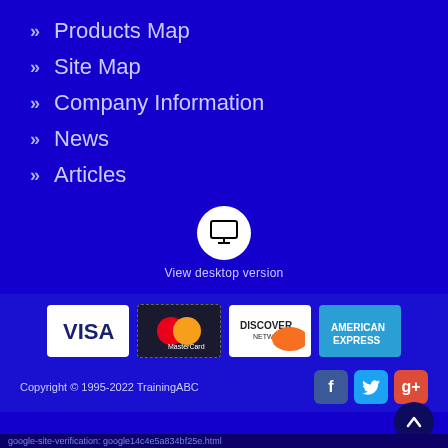» Products Map
» Site Map
» Company Information
» News
» Articles
[Figure (illustration): Monitor icon in white circle with label 'View desktop version']
[Figure (illustration): Payment logos: Visa, MasterCard, Discover Network, American Express]
Copyright © 1995-2022 TrainingABC
google-site-verification: google14c4e5a834bf25e.html